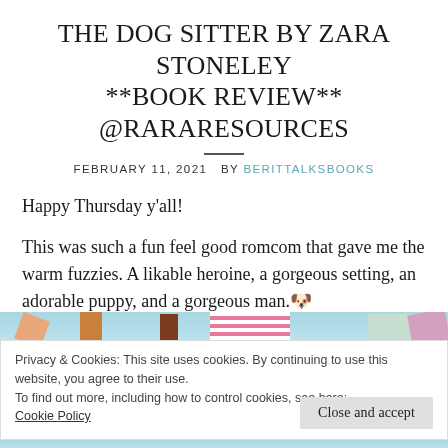THE DOG SITTER BY ZARA STONELEY **BOOK REVIEW** @RARARESOURCES
FEBRUARY 11, 2021  BY BERITTALKSBOOKS
Happy Thursday y'all!
This was such a fun feel good romcom that gave me the warm fuzzies. A likable heroine, a gorgeous setting, an adorable puppy, and a gorgeous man. 🐶
[Figure (photo): Decorative book cover image strip at bottom of page]
Privacy & Cookies: This site uses cookies. By continuing to use this website, you agree to their use.
To find out more, including how to control cookies, see here:
Cookie Policy
Close and accept